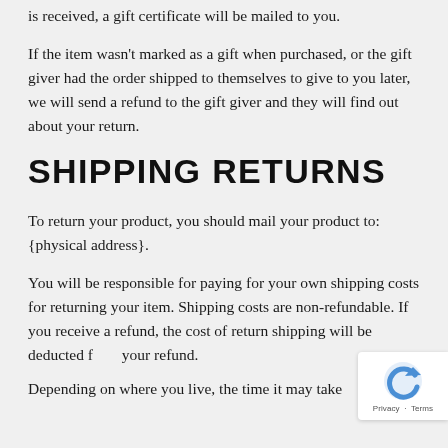is received, a gift certificate will be mailed to you.
If the item wasn't marked as a gift when purchased, or the gift giver had the order shipped to themselves to give to you later, we will send a refund to the gift giver and they will find out about your return.
SHIPPING RETURNS
To return your product, you should mail your product to: {physical address}.
You will be responsible for paying for your own shipping costs for returning your item. Shipping costs are non-refundable. If you receive a refund, the cost of return shipping will be deducted from your refund.
Depending on where you live, the time it may take